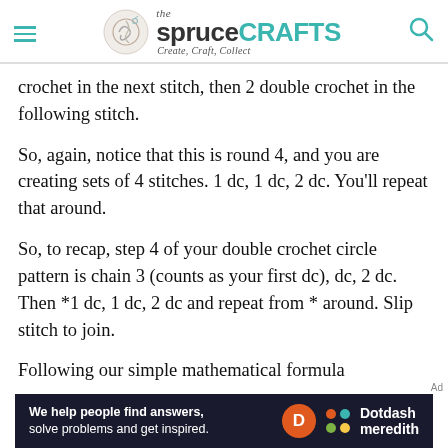the spruceCRAFTS Create, Craft, Collect
crochet in the next stitch, then 2 double crochet in the following stitch.
So, again, notice that this is round 4, and you are creating sets of 4 stitches. 1 dc, 1 dc, 2 dc. You'll repeat that around.
So, to recap, step 4 of your double crochet circle pattern is chain 3 (counts as your first dc), dc, 2 dc. Then *1 dc, 1 dc, 2 dc and repeat from * around. Slip stitch to join.
Following our simple mathematical formula
[Figure (other): Dotdash Meredith advertisement banner: 'We help people find answers, solve problems and get inspired.' with Dotdash Meredith logo]